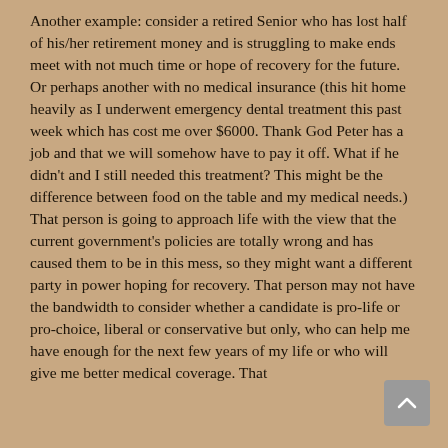Another example: consider a retired Senior who has lost half of his/her retirement money and is struggling to make ends meet with not much time or hope of recovery for the future. Or perhaps another with no medical insurance (this hit home heavily as I underwent emergency dental treatment this past week which has cost me over $6000. Thank God Peter has a job and that we will somehow have to pay it off. What if he didn't and I still needed this treatment? This might be the difference between food on the table and my medical needs.) That person is going to approach life with the view that the current government's policies are totally wrong and has caused them to be in this mess, so they might want a different party in power hoping for recovery. That person may not have the bandwidth to consider whether a candidate is pro-life or pro-choice, liberal or conservative but only, who can help me have enough for the next few years of my life or who will give me better medical coverage. That